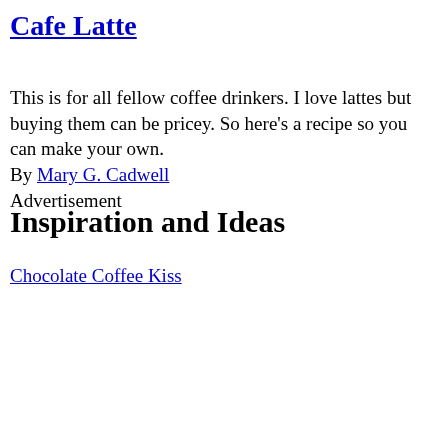Cafe Latte
This is for all fellow coffee drinkers. I love lattes but buying them can be pricey. So here's a recipe so you can make your own.
By Mary G. Cadwell
Advertisement
Inspiration and Ideas
Chocolate Coffee Kiss